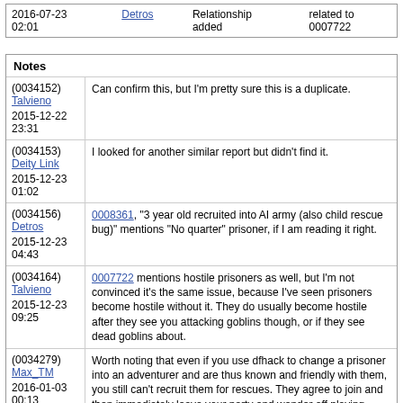| Date | User | Action | Detail |
| --- | --- | --- | --- |
| 2016-07-23 02:01 | Detros | Relationship added | related to 0007722 |
Notes
| Meta | Note |
| --- | --- |
| (0034152)
Talvieno
2015-12-22 23:31 | Can confirm this, but I'm pretty sure this is a duplicate. |
| (0034153)
Deity Link
2015-12-23 01:02 | I looked for another similar report but didn't find it. |
| (0034156)
Detros
2015-12-23 04:43 | 0008361, "3 year old recruited into AI army (also child rescue bug)" mentions "No quarter" prisoner, if I am reading it right. |
| (0034164)
Talvieno
2015-12-23 09:25 | 0007722 mentions hostile prisoners as well, but I'm not convinced it's the same issue, because I've seen prisoners become hostile without it. They do usually become hostile after they see you attacking goblins though, or if they see dead goblins about. |
| (0034279)
Max_TM
2016-01-03 00:13 | Worth noting that even if you use dfhack to change a prisoner into an adventurer and are thus known and friendly with them, you still can't recruit them for rescues. They agree to join and then immediately leave your party and wander off playing pretend.

It's kinda creepy, kinda sad in a "I'll just pretend I'm not surrounded by kidnappers and slaughter and cold slade walls" sorta way too though. |